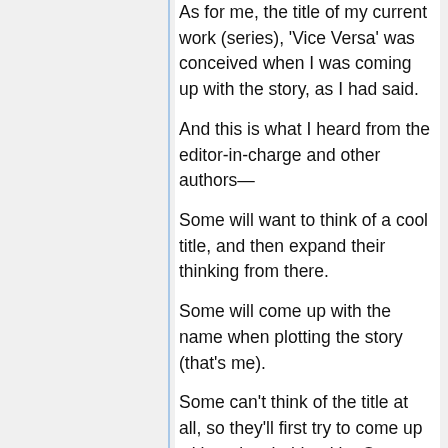As for me, the title of my current work (series), 'Vice Versa' was conceived when I was coming up with the story, as I had said.
And this is what I heard from the editor-in-charge and other authors—
Some will want to think of a cool title, and then expand their thinking from there.
Some will come up with the name when plotting the story (that's me).
Some can't think of the title at all, so they'll first try to come up with a placeholder title. Once the manuscript's done however, they'll decide on the actual title.
Sometimes, the placeholder titles will become the actual title because there aren't any other ideas.